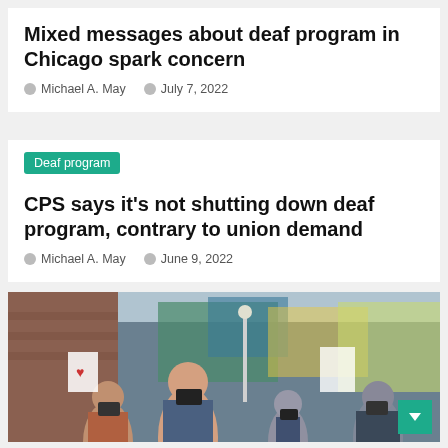Mixed messages about deaf program in Chicago spark concern
Michael A. May  |  July 7, 2022
Deaf program
CPS says it's not shutting down deaf program, contrary to union demand
Michael A. May  |  June 9, 2022
[Figure (photo): Crowd of people, some wearing masks, standing outdoors near a colorful mural, apparently at a protest or rally related to a deaf program]